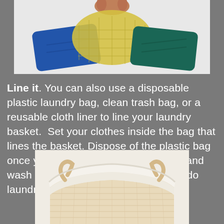[Figure (photo): Photo of colorful mesh laundry bags in blue, yellow, and teal colors, with a hand visible at the top]
Line it. You can also use a disposable plastic laundry bag, clean trash bag, or a reusable cloth liner to line your laundry basket.  Set your clothes inside the bag that lines the basket. Dispose of the plastic bag once you’ve put your belonging away and wash the cloth liner the next time you do laundry.
[Figure (photo): Photo of a wicker laundry basket with a white cloth liner inside, featuring rope handles on each side]